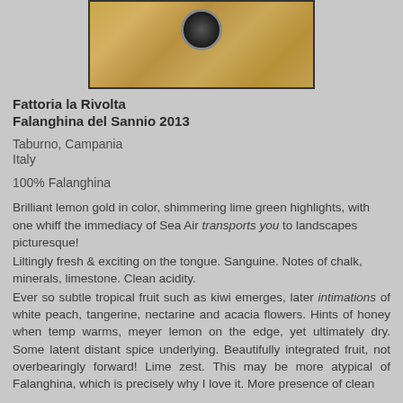[Figure (photo): Photo of a wine bottle with golden stone background, top portion of bottle visible]
Fattoria la Rivolta
Falanghina del Sannio 2013
Taburno, Campania
Italy
100% Falanghina
Brilliant lemon gold in color, shimmering lime green highlights, with one whiff the immediacy of Sea Air transports you to landscapes picturesque!
Liltingly fresh & exciting on the tongue. Sanguine. Notes of chalk, minerals, limestone. Clean acidity.
Ever so subtle tropical fruit such as kiwi emerges, later intimations of white peach, tangerine, nectarine and acacia flowers. Hints of honey when temp warms, meyer lemon on the edge, yet ultimately dry. Some latent distant spice underlying. Beautifully integrated fruit, not overbearingly forward! Lime zest. This may be more atypical of Falanghina, which is precisely why I love it. More presence of clean